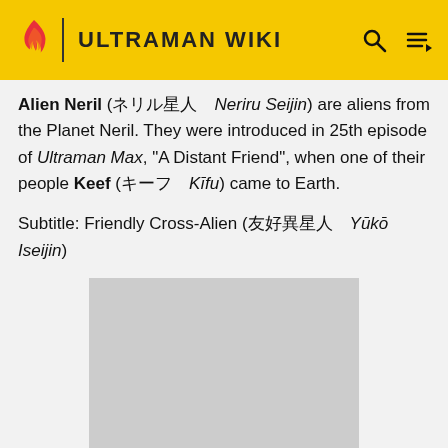ULTRAMAN WIKI
Alien Neril (ネリル星人 Neriru Seijin) are aliens from the Planet Neril. They were introduced in 25th episode of Ultraman Max, "A Distant Friend", when one of their people Keef (キーフ Kīfu) came to Earth.
Subtitle: Friendly Cross-Alien (友好異星人 Yūkō Iseijin)
[Figure (photo): Gray placeholder image area for Alien Neril]